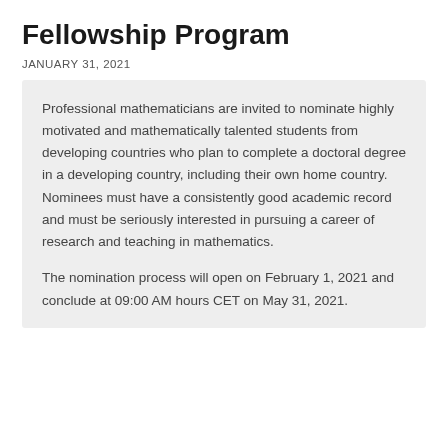Fellowship Program
JANUARY 31, 2021
Professional mathematicians are invited to nominate highly motivated and mathematically talented students from developing countries who plan to complete a doctoral degree in a developing country, including their own home country. Nominees must have a consistently good academic record and must be seriously interested in pursuing a career of research and teaching in mathematics.
The nomination process will open on February 1, 2021 and conclude at 09:00 AM hours CET on May 31, 2021.